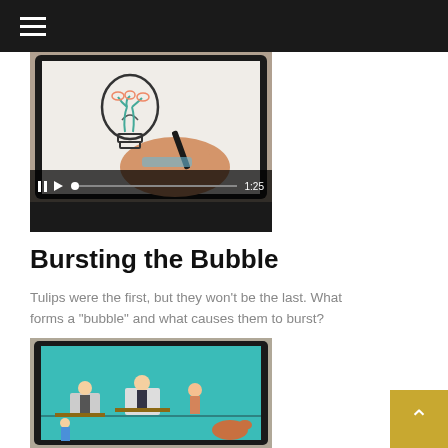[Figure (screenshot): Video player showing a tablet with someone drawing a light bulb sketch, with playback controls showing pause, play, progress bar, and time 1:25]
Bursting the Bubble
Tulips were the first, but they won't be the last. What forms a "bubble" and what causes them to burst?
[Figure (screenshot): Video thumbnail showing an animated scene on a tablet with a teal background depicting illustrated characters at desks]